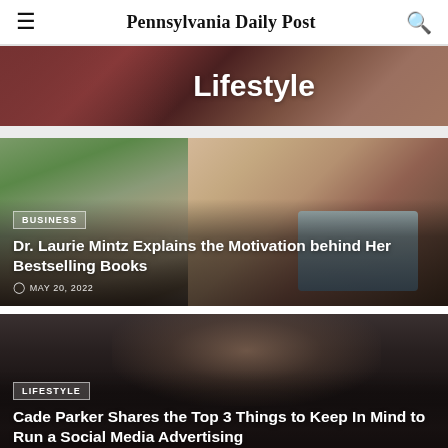Pennsylvania Daily Post
Lifestyle
[Figure (photo): Outdoor photo of a smiling woman with curly hair wearing a light blue sleeveless top, sitting outside near a wooden surface with trees/brush in background]
BUSINESS
Dr. Laurie Mintz Explains the Motivation behind Her Bestselling Books
MAY 20, 2022
[Figure (photo): Dark portrait photo of a young man with dark hair against a very dark background]
LIFESTYLE
Cade Parker Shares the Top 3 Things to Keep In Mind to Run a Social Media Advertising